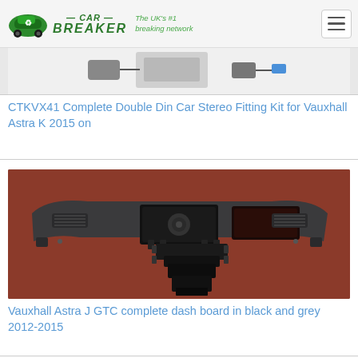CAR BREAKER — The UK's #1 breaking network
[Figure (photo): Partial view of a car stereo fitting kit product image, cropped at the top of the listing]
CTKVX41 Complete Double Din Car Stereo Fitting Kit for Vauxhall Astra K 2015 on
[Figure (photo): Vauxhall Astra J GTC complete dashboard in black and grey, disassembled, placed on a red surface, 2012-2015]
Vauxhall Astra J GTC complete dash board in black and grey 2012-2015